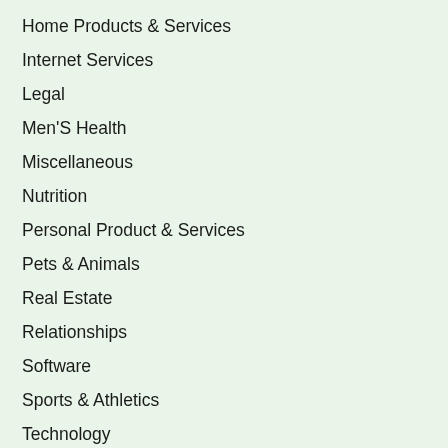Home Products & Services
Internet Services
Legal
Men'S Health
Miscellaneous
Nutrition
Personal Product & Services
Pets & Animals
Real Estate
Relationships
Software
Sports & Athletics
Technology